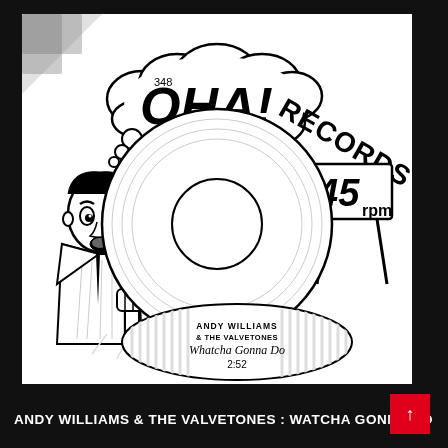[Figure (illustration): OHA! Records label artwork: black and white illustration of a cartoon man looking surprised with a speech bubble saying 'OHA! RECORDS', a vinyl record with center hole, a 45rpm sign, and a record sleeve at the bottom showing 'ANDY WILLIAMS & THE VALVETONES - Whatcha Gonna Do - 2:52'. Catalog number 348.]
ANDY WILLIAMS & THE VALVETONES : WATCHA GONNA DO